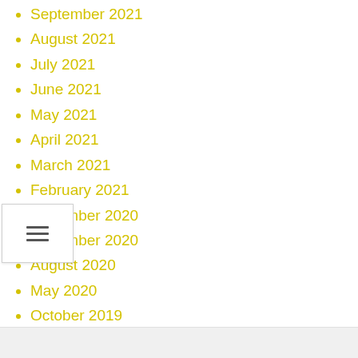September 2021
August 2021
July 2021
June 2021
May 2021
April 2021
March 2021
February 2021
December 2020
November 2020
August 2020
May 2020
October 2019
March 2018